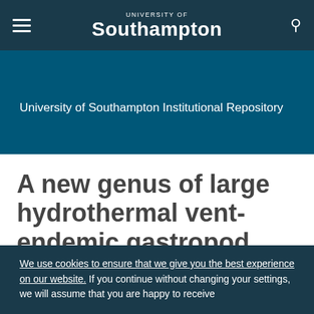University of Southampton
University of Southampton Institutional Repository
A new genus of large hydrothermal vent-endemic gastropod (Neomphalina: Peltospiridae)
We use cookies to ensure that we give you the best experience on our website. If you continue without changing your settings, we will assume that you are happy to receive